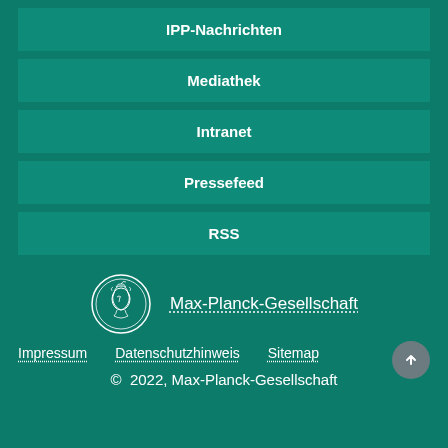IPP-Nachrichten
Mediathek
Intranet
Pressefeed
RSS
[Figure (logo): Max-Planck-Gesellschaft circular logo with profile of Minerva]
Max-Planck-Gesellschaft
Impressum
Datenschutzhinweis
Sitemap
© 2022, Max-Planck-Gesellschaft